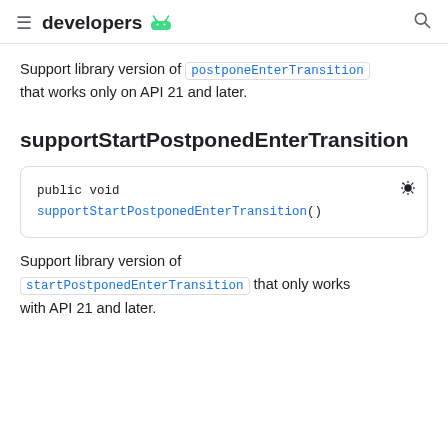developers [android logo]
Support library version of postponeEnterTransition that works only on API 21 and later.
supportStartPostponedEnterTransition
public void supportStartPostponedEnterTransition()
Support library version of startPostponedEnterTransition that only works with API 21 and later.